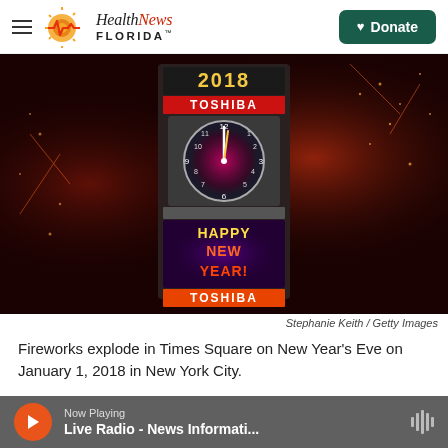Health News Florida
[Figure (photo): Fireworks explode over the Times Square New Year's Eve ball drop display showing 2018 TOSHIBA and HAPPY NEW YEAR with a large clock, surrounded by red fireworks and sparks at night.]
Stephanie Keith / Getty Images
Fireworks explode in Times Square on New Year's Eve on January 1, 2018 in New York City.
Now Playing
Live Radio - News Informati...